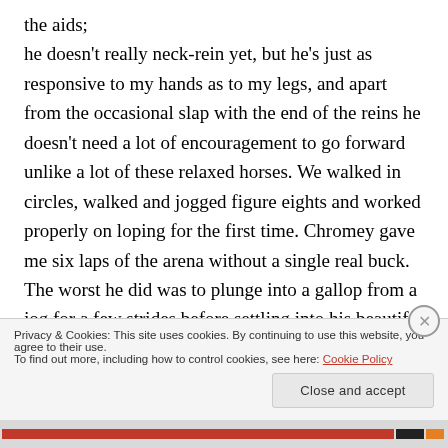the aids; he doesn't really neck-rein yet, but he's just as responsive to my hands as to my legs, and apart from the occasional slap with the end of the reins he doesn't need a lot of encouragement to go forward unlike a lot of these relaxed horses. We walked in circles, walked and jogged figure eights and worked properly on loping for the first time. Chromey gave me six laps of the arena without a single real buck. The worst he did was to plunge into a gallop from a jog for a few strides before settling into his beautiful smooth lope
Privacy & Cookies: This site uses cookies. By continuing to use this website, you agree to their use. To find out more, including how to control cookies, see here: Cookie Policy
Close and accept